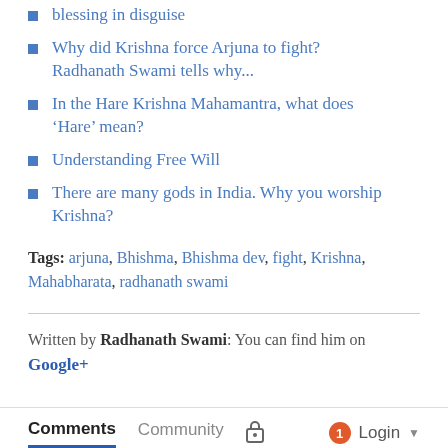blessing in disguise
Why did Krishna force Arjuna to fight? Radhanath Swami tells why...
In the Hare Krishna Mahamantra, what does ‘Hare’ mean?
Understanding Free Will
There are many gods in India. Why you worship Krishna?
Tags: arjuna, Bhishma, Bhishma dev, fight, Krishna, Mahabharata, radhanath swami
Written by Radhanath Swami: You can find him on Google+
Comments  Community  Login